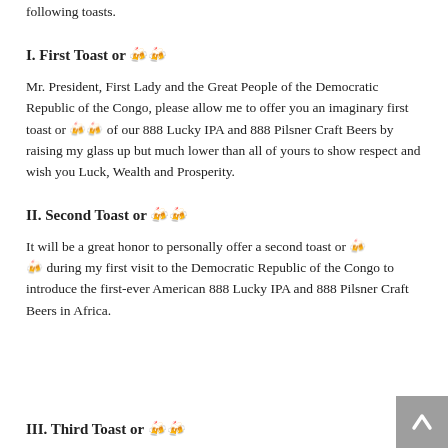following toasts.
I. First Toast or 🍺
Mr. President, First Lady and the Great People of the Democratic Republic of the Congo, please allow me to offer you an imaginary first toast or 🍺 of our 888 Lucky IPA and 888 Pilsner Craft Beers by raising my glass up but much lower than all of yours to show respect and wish you Luck, Wealth and Prosperity.
II. Second Toast or 🍺
It will be a great honor to personally offer a second toast or 🍺 during my first visit to the Democratic Republic of the Congo to introduce the first-ever American 888 Lucky IPA and 888 Pilsner Craft Beers in Africa.
III. Third Toast or 🍺